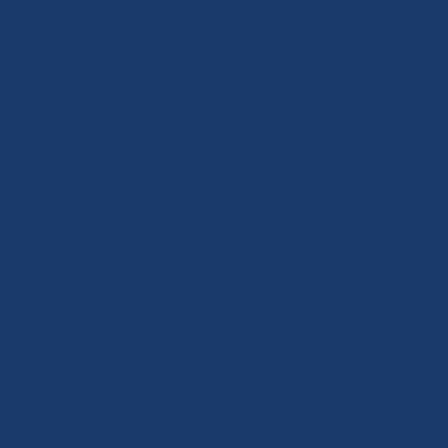g a b o ut M L K. A p ar t fr o m pl a gi ar isi n g al m os t ev er y lin